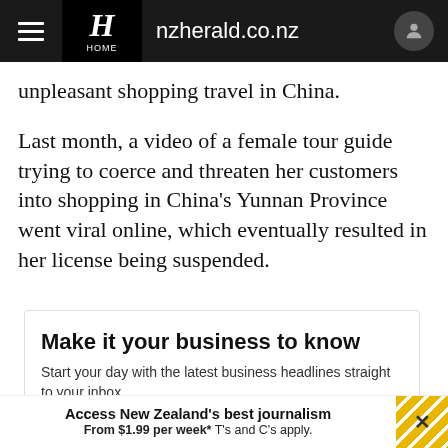nzherald.co.nz
unpleasant shopping travel in China.
Last month, a video of a female tour guide trying to coerce and threaten her customers into shopping in China's Yunnan Province went viral online, which eventually resulted in her license being suspended.
Make it your business to know
Start your day with the latest business headlines straight to your inbox.
Please email me competiti...rs and other updates. You can
Access New Zealand's best journalism From $1.99 per week* T's and C's apply.